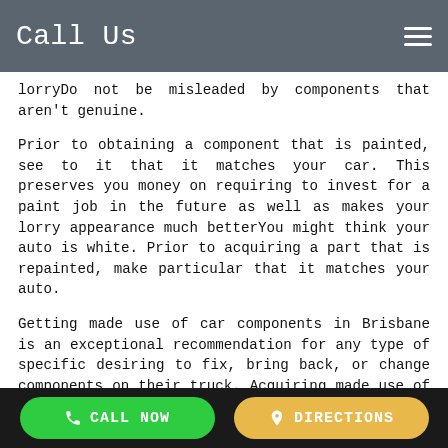Call Us
lorryDo not be misleaded by components that aren't genuine.
Prior to obtaining a component that is painted, see to it that it matches your car. This preserves you money on requiring to invest for a paint job in the future as well as makes your lorry appearance much betterYou might think your auto is white. Prior to acquiring a part that is repainted, make particular that it matches your auto.
Getting made use of car components in Brisbane is an exceptional recommendation for any type of specific desiring to fix, bring back, or change components on their truck. Acquiring made use of vehicle components from a salvage yard lawn be difficult hard you don't do not recognize parts components avoid stay clear of as well as ones to getObtain Those vehicles generally have great deals of body components undamagedThose automobiles generally
CALL NOW   DIRECTIONS